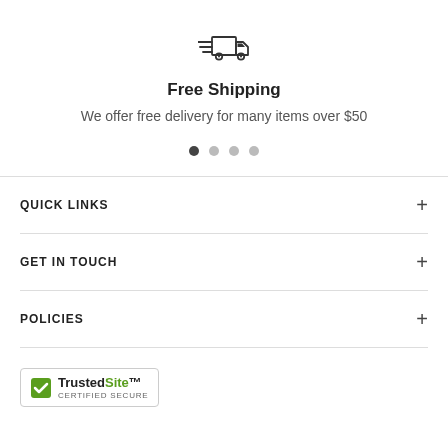[Figure (illustration): Delivery truck icon with speed lines]
Free Shipping
We offer free delivery for many items over $50
[Figure (other): Carousel dots: one filled, three hollow]
QUICK LINKS
GET IN TOUCH
POLICIES
[Figure (logo): TrustedSite Certified Secure badge with green checkmark]